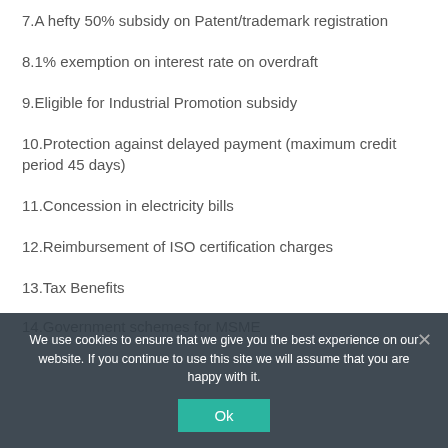7.A hefty 50% subsidy on Patent/trademark registration
8.1% exemption on interest rate on overdraft
9.Eligible for Industrial Promotion subsidy
10.Protection against delayed payment (maximum credit period 45 days)
11.Concession in electricity bills
12.Reimbursement of ISO certification charges
13.Tax Benefits
14.Government schemes for MSME
We use cookies to ensure that we give you the best experience on our website. If you continue to use this site we will assume that you are happy with it.